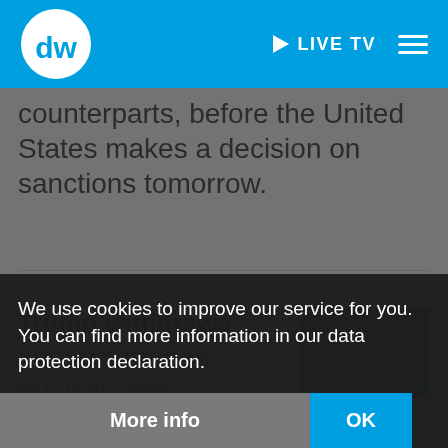DW | LIVE TV
counterparts, before the United States makes a decision on sanctions tomorrow.
POLITICS | 13.10.2017
Trump withdraws support for Iran nuclear deal
[Figure (photo): Thumbnail image related to Iran nuclear deal article]
After the meeting, Zarif said Iran's promise to curb its nuclear programme, signed with six world powers was "conditioned on full compliance of those
We use cookies to improve our service for you. You can find more information in our data protection declaration.
More info
OK